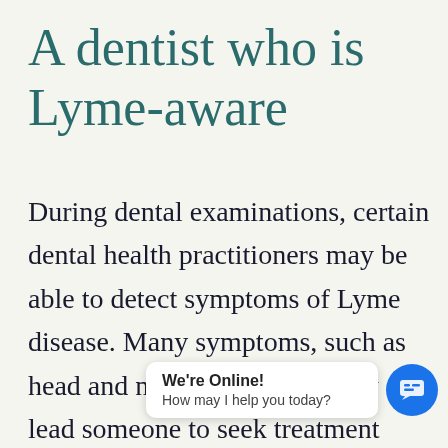A dentist who is Lyme-aware
During dental examinations, certain dental health practitioners may be able to detect symptoms of Lyme disease. Many symptoms, such as head and neck discomfort, may lead someone to seek treatment from a dentist instead of their general practitioner, since they believe their ailment is caused by a t… practitioners must be comprehensive in their
[Figure (screenshot): Live chat widget overlay in bottom-right area showing 'We're Online! How may I help you today?' with a blue circular chat icon]